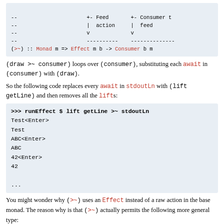[Figure (screenshot): Code block showing type signature for (>~) operator with Monad, Effect, Consumer types]
(draw >~ consumer) loops over (consumer), substituting each await in (consumer) with (draw).
So the following code replaces every await in stdoutLn with (lift getLine) and then removes all the lifts:
[Figure (screenshot): REPL session showing: >>> runEffect $ lift getLine >~ stdoutLn, Test<Enter>, Test, ABC<Enter>, ABC, 42<Enter>, 42, ...]
You might wonder why (>~) uses an Effect instead of a raw action in the base monad. The reason why is that (>~) actually permits the following more general type:
[Figure (screenshot): Code block showing: (>~) :: Monad m => Consumer a m b -> Consumer b m r -> Consumer a m r]